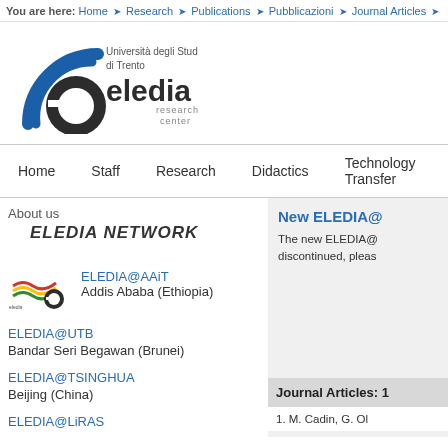You are here: Home > Research > Publications > Pubblicazioni > Journal Articles >
[Figure (logo): ELEDIA Research Center logo with Università degli Studi di Trento text and blue arc emblem]
Home  Staff  Research  Didactics  Technology Transfer
About us
ELEDIA NETWORK
New ELEDIA@
The new ELEDIA@ discontinued, pleas
[Figure (logo): Small ELEDIA Research Center mini logo]
ELEDIA@AAiT
Addis Ababa (Ethiopia)
ELEDIA@UTB
Bandar Seri Begawan (Brunei)
ELEDIA@TSINGHUA
Beijing (China)
ELEDIA@LiRAS
Journal Articles: 1
1. M. Cadin, G. Ol